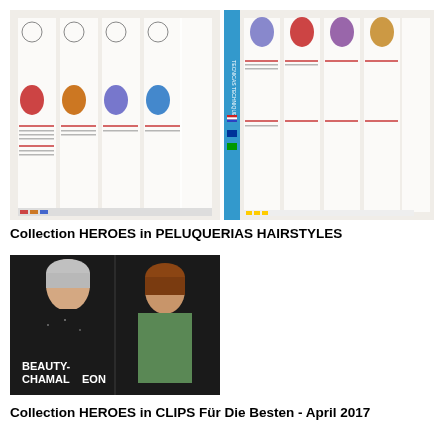[Figure (photo): Two open magazine spreads showing hairstyle technique pages with illustrations, colored hair photos, and multilingual text columns. The right page has a blue spine visible with flag icons and 'TECNICAS TECHNIQUES' text.]
Collection HEROES in PELUQUERIAS HAIRSTYLES
[Figure (photo): Magazine cover or spread showing two women with short stylish haircuts against dark background. Text overlay reads 'BEAUTY-CHAMALEON' in white.]
Collection HEROES in CLIPS Für Die Besten - April 2017